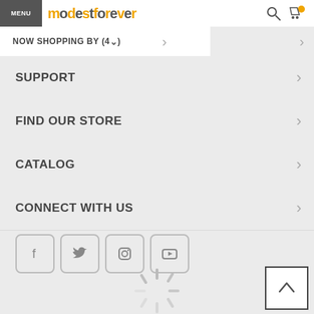MENU | modestforever
NOW SHOPPING BY (4)
SUPPORT
FIND OUR STORE
CATALOG
CONNECT WITH US
[Figure (infographic): Social media icon buttons: Facebook, Twitter, Instagram, YouTube]
[Figure (infographic): Loading spinner animation]
[Figure (infographic): Back to top button with upward chevron]